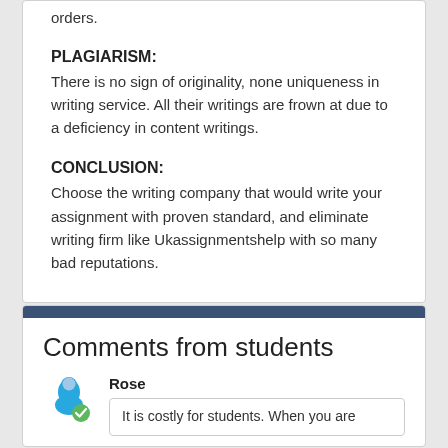orders.
PLAGIARISM:
There is no sign of originality, none uniqueness in writing service. All their writings are frown at due to a deficiency in content writings.
CONCLUSION:
Choose the writing company that would write your assignment with proven standard, and eliminate writing firm like Ukassignmentshelp with so many bad reputations.
Comments from students
Rose
It is costly for students. When you are